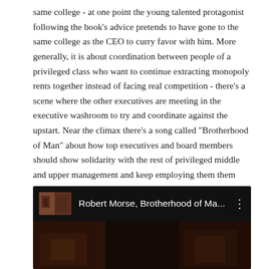same college - at one point the young talented protagonist following the book's advice pretends to have gone to the same college as the CEO to curry favor with him. More generally, it is about coordination between people of a privileged class who want to continue extracting monopoly rents together instead of facing real competition - there's a scene where the other executives are meeting in the executive washroom to try and coordinate against the upstart. Near the climax there's a song called "Brotherhood of Man" about how top executives and board members should show solidarity with the rest of privileged middle and upper management and keep employing them them even if they don't add value. The protagonist becomes chairman of the board, and at the very end decides that he'd rather be President of the United States, so he shows up at the White House to implement the exact same strategy.
[Figure (screenshot): YouTube video embed showing 'Robert Morse, Brotherhood of Ma...' with a dark background, video thumbnail on left, title in white text, and three-dot menu icon on right.]